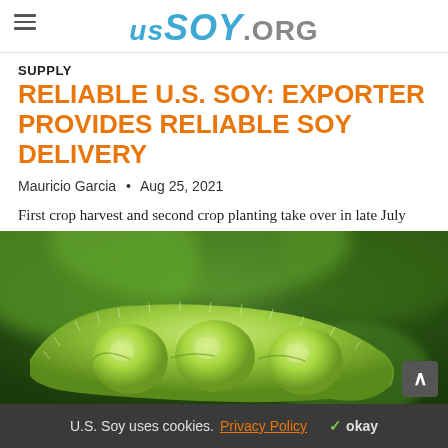USSOY.ORG
SUPPLY
RELIABLE U.S. SOY: EXPORTER PROVIDES RELIABLE SOY DELIVERY
Mauricio Garcia  •  Aug 25, 2021
First crop harvest and second crop planting take over in late July and early August in the Lower Rio Grande Valley of Texas. This hot,...
[Figure (photo): Close-up photo of an open green soybean pod showing soybeans inside, held against a blurred green background.]
U.S. Soy uses cookies. Privacy Policy  ✓ okay